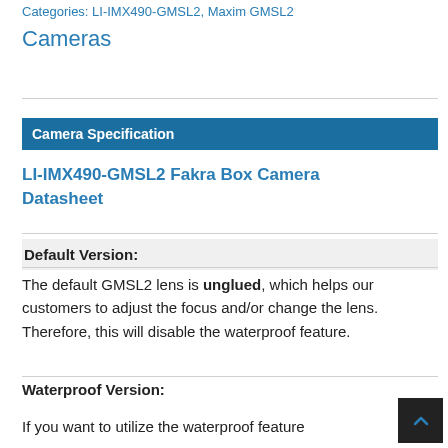Categories: LI-IMX490-GMSL2, Maxim GMSL2 Cameras
Camera Specification
LI-IMX490-GMSL2 Fakra Box Camera Datasheet
Default Version:
The default GMSL2 lens is unglued, which helps our customers to adjust the focus and/or change the lens. Therefore, this will disable the waterproof feature.
Waterproof Version:
If you want to utilize the waterproof feature